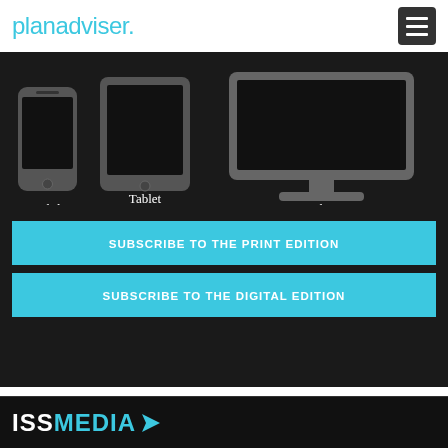planadviser.
[Figure (illustration): Three device icons (mobile phone, tablet, desktop monitor) shown in gray on a dark background. Each device has a dark screen. Labels below: Mobile, Tablet, Desktop.]
SUBSCRIBE TO THE PRINT EDITION
SUBSCRIBE TO THE DIGITAL EDITION
ISS MEDIA